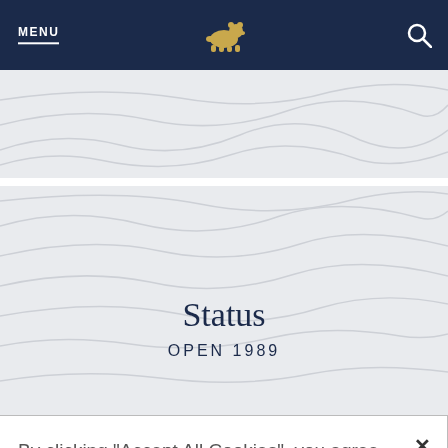MENU  [bear logo]  [search icon]
[Figure (illustration): Topographic contour map background section 1]
[Figure (illustration): Topographic contour map background section 2 with Status title]
Status
OPEN 1989
By clicking "Accept All Cookies", you agree to the storing of cookies on your device to enhance site navigation, analyze site usage, and assist in our marketing efforts.